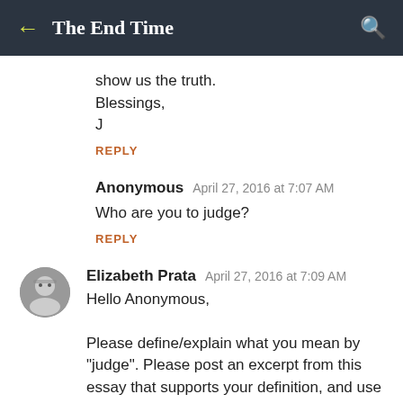← The End Time 🔍
show us the truth.
Blessings,
J
REPLY
Anonymous  April 27, 2016 at 7:07 AM
Who are you to judge?
REPLY
Elizabeth Prata  April 27, 2016 at 7:09 AM
Hello Anonymous,

Please define/explain what you mean by "judge". Please post an excerpt from this essay that supports your definition, and use scriptures too if possible. Thank you.
REPLY